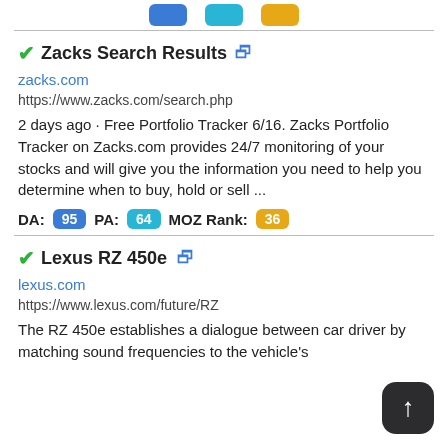[Figure (other): Three colored badge indicators: blue, cyan, and gold/yellow rectangles at top]
Zacks Search Results
zacks.com
https://www.zacks.com/search.php
2 days ago · Free Portfolio Tracker 6/16. Zacks Portfolio Tracker on Zacks.com provides 24/7 monitoring of your stocks and will give you the information you need to help you determine when to buy, hold or sell ...
DA: 95  PA: 64  MOZ Rank: 36
Lexus RZ 450e
lexus.com
https://www.lexus.com/future/RZ
The RZ 450e establishes a dialogue between car driver by matching sound frequencies to the vehicle's